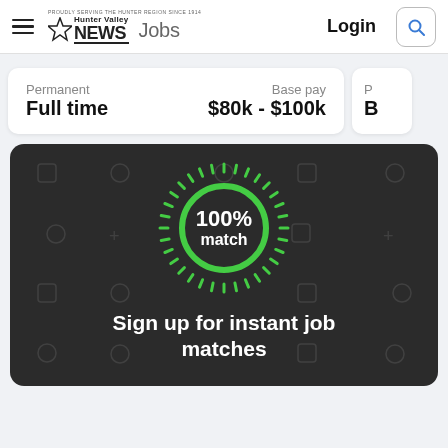Hunter Valley NEWS Jobs  Login
Permanent
Full time
Base pay
$80k - $100k
[Figure (infographic): Dark background promotional banner showing a green glowing circle with '100% match' text in the center surrounded by radiating green dashes, with faint icon watermarks in the background.]
Sign up for instant job matches